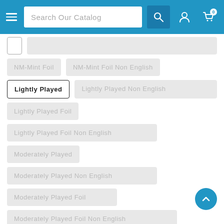Search Our Catalog
NM-Mint Foil
NM-Mint Foil Non English
Lightly Played
Lightly Played Non English
Lightly Played Foil
Lightly Played Foil Non English
Moderately Played
Moderately Played Non English
Moderately Played Foil
Moderately Played Foil Non English
Heavily Played
Heavily Played Non English